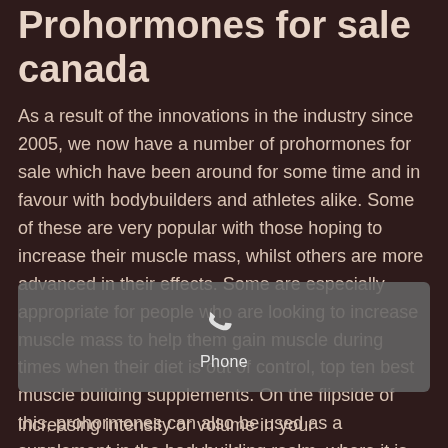Prohormones for sale canada
As a result of the innovations in the industry since 2005, we now have a number of prohormones for sale which have been around for some time and in favour with bodybuilders and athletes alike. Some of these are very popular with those hoping to increase their muscle mass, whilst others are more advanced in their effects. Some are especially appropriate for people who are looking to increase muscle mass to help them gain muscle during times when their diet is out of control, top ten best muscle building supplements. On the flipside of this, prohormones can also be used as a supplement in the bodybuilding realm, where it is used at around a 1/5th as much as a
[Figure (other): Phone call overlay widget with a phone handset icon and the label 'Phone']
increasing intensity or volume in your